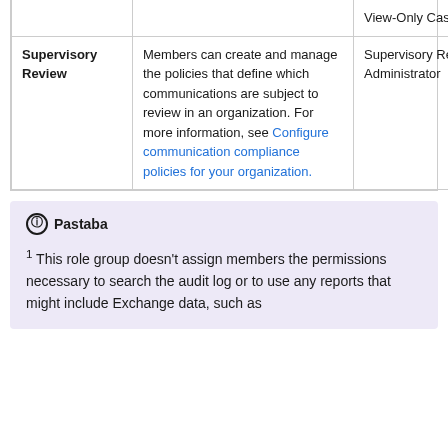|  |  | View-Only Case |
| --- | --- | --- |
| Supervisory Review | Members can create and manage the policies that define which communications are subject to review in an organization. For more information, see Configure communication compliance policies for your organization. | Supervisory Review Administrator |
Pastaba
1 This role group doesn't assign members the permissions necessary to search the audit log or to use any reports that might include Exchange data, such as